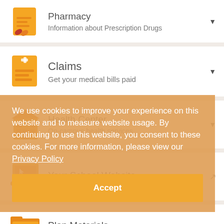[Figure (illustration): Pharmacy icon - orange document with pills]
Pharmacy
Information about Prescription Drugs
[Figure (illustration): Claims icon - orange document with medical cross]
Claims
Get your medical bills paid
[Figure (illustration): Health Center icon - orange building]
Health Center
On-campus health services
[Figure (illustration): Your School Website icon - orange laptop]
Your School Website
We use cookies to improve your experience on this website and to measure website usage. By continuing to use this website, you consent to these cookies. For more information, please view our Privacy Policy
Accept
[Figure (illustration): Plan Materials icon - orange folder]
Plan Materials